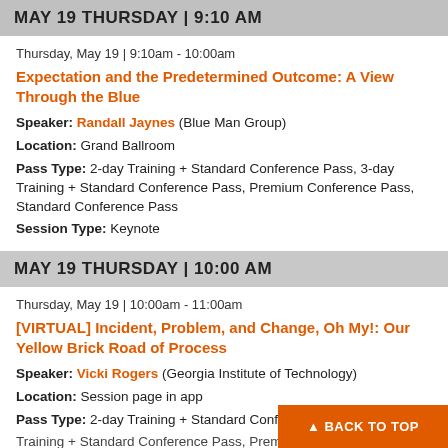MAY 19 THURSDAY | 9:10 AM
Thursday, May 19 | 9:10am - 10:00am
Expectation and the Predetermined Outcome: A View Through the Blue
Speaker: Randall Jaynes (Blue Man Group)
Location: Grand Ballroom
Pass Type: 2-day Training + Standard Conference Pass, 3-day Training + Standard Conference Pass, Premium Conference Pass, Standard Conference Pass
Session Type: Keynote
MAY 19 THURSDAY | 10:00 AM
Thursday, May 19 | 10:00am - 11:00am
[VIRTUAL] Incident, Problem, and Change, Oh My!: Our Yellow Brick Road of Process
Speaker: Vicki Rogers (Georgia Institute of Technology)
Location: Session page in app
Pass Type: 2-day Training + Standard Confe...